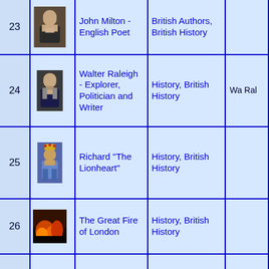| # | Image | Name | Categories | Extra |
| --- | --- | --- | --- | --- |
| 23 | [portrait] | John Milton - English Poet | British Authors, British History |  |
| 24 | [portrait] | Walter Raleigh - Explorer, Politician and Writer | History, British History | Wa Ral |
| 25 | [portrait] | Richard "The Lionheart" | History, British History |  |
| 26 | [image] | The Great Fire of London | History, British History |  |
| 27 | [portrait] | Michael Faraday - Influential Scientist | History, Science & Nature, Scientists, British History | Mic Far |
|  | [image] | Thomas |  |  |